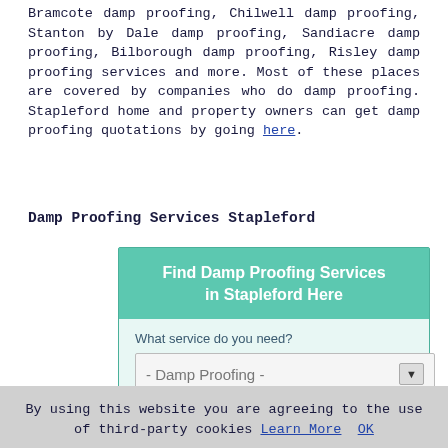Bramcote damp proofing, Chilwell damp proofing, Stanton by Dale damp proofing, Sandiacre damp proofing, Bilborough damp proofing, Risley damp proofing services and more. Most of these places are covered by companies who do damp proofing. Stapleford home and property owners can get damp proofing quotations by going here.
Damp Proofing Services Stapleford
[Figure (infographic): A web widget/form box with teal header reading 'Find Damp Proofing Services in Stapleford Here', a dropdown for 'What service do you need?' showing '- Damp Proofing -', and a dropdown for 'Where do you need it?' showing '- Select Location -', with a teal button partially visible at the bottom.]
By using this website you are agreeing to the use of third-party cookies Learn More OK